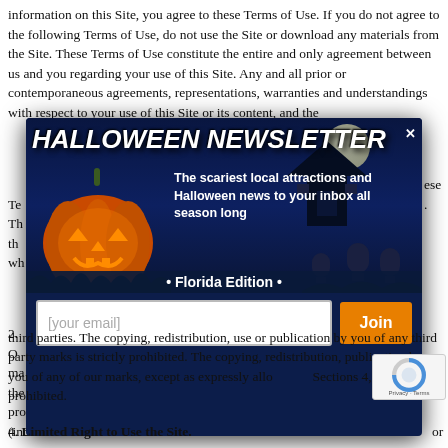information on this Site, you agree to these Terms of Use. If you do not agree to the following Terms of Use, do not use the Site or download any materials from the Site. These Terms of Use constitute the entire and only agreement between us and you regarding your use of this Site. Any and all prior or contemporaneous agreements, representations, warranties and understandings with respect to your use of this Site or its content, and the [obscured by modal] ese Terms [obscured] The [obscured] the [obscured] wh[obscured]
[Figure (infographic): Halloween Newsletter popup modal overlay with dark blue spooky background, jack-o-lantern pumpkin on left, haunted house silhouette, moon, and graveyards. Title reads 'HALLOWEEN NEWSLETTER' with close X button. Text reads 'The scariest local attractions and Halloween news to your inbox all season long'. '• Florida Edition •' subtitle. Email input field with [your email] placeholder and orange Join button.]
2. Ownership. [obscured by modal] ma[obscured] the[obscured] pro[obscured] (inc[obscured] pro[obscured] cr[obscured] s exp[obscured]
3. T[obscured] tra[obscured] her third parties. The copying, redistribution, use or publication by you of any third party marks is strictly prohibited. The copying, redistribution, publication by you of any of our marks, except as expressly allowed in Sections 4, is strictly prohibited.
4. Limited Right to Use the Site.